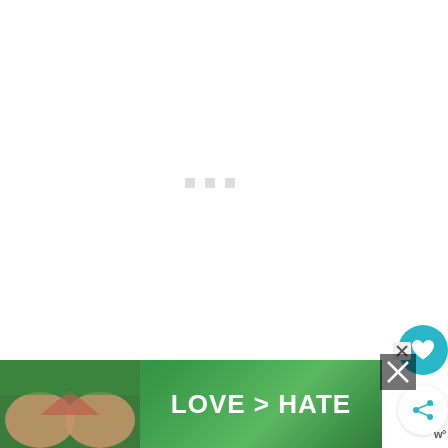[Figure (screenshot): White content area with three small grey loading indicator squares/dots centered horizontally, suggesting content is loading]
INSTRUCTIONS
[Figure (photo): Advertisement banner showing hands making a heart shape against green foliage background with text LOVE > HATE in white bold letters]
[Figure (other): Teal circular heart/favorite button icon on the right side]
[Figure (other): Share button with white circle and share icon on the right side]
[Figure (other): Close X button in grey for the ad panel on far right]